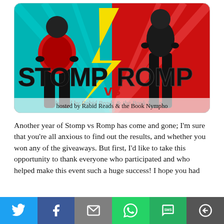[Figure (illustration): Stomp vs Romp banner image with two silhouetted figures (one in red dress, one in black) against teal and red background with yellow lightning bolt. Text reads 'STOMP vs ROMP hosted by Rabid Reads & the Book Nympho'.]
Another year of Stomp vs Romp has come and gone; I'm sure that you're all anxious to find out the results, and whether you won any of the giveaways. But first, I'd like to take this opportunity to thank everyone who participated and who helped make this event such a huge success! I hope you had
[Figure (infographic): Social media share bar with buttons: Twitter (blue bird icon), Facebook (blue f icon), Email (grey envelope icon), WhatsApp (green phone icon), SMS (green SMS icon), More (grey circle arrow icon).]